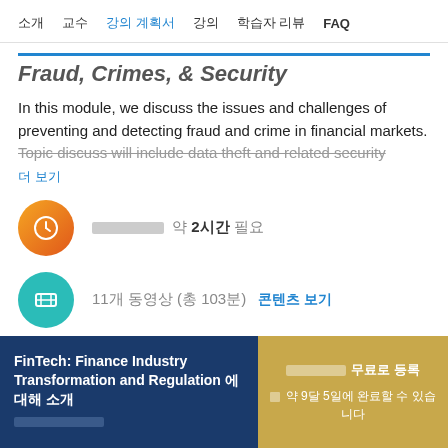소개   교수   강의 계획서   강의   학습자 리뷰   FAQ
Fraud, Crimes, & Security
In this module, we discuss the issues and challenges of preventing and detecting fraud and crime in financial markets. Topic discuss will include data theft and related security
더 보기
완료하는 데 약 2시간 필요
11개 동영상 (총 103분)   콘텐츠 보기
FinTech: Finance Industry Transformation and Regulation 에 대해
코스 소개
쿠폰쿠폰쿠폰쿠폰쿠폰쿠폰
무료로 등록
약 9달 5일에 완료할 수 있습니다